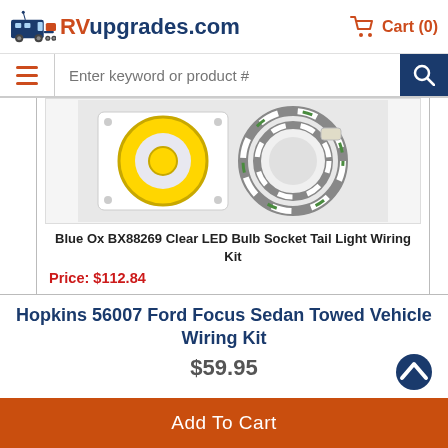RVupgrades.com  Cart (0)
Enter keyword or product #
[Figure (photo): Photo of Blue Ox BX88269 Clear LED Bulb Socket Tail Light Wiring Kit — showing a yellow wire coil in a white tray and a multicolored wire coil beside it]
Blue Ox BX88269 Clear LED Bulb Socket Tail Light Wiring Kit
Price: $112.84
Hopkins 56007 Ford Focus Sedan Towed Vehicle Wiring Kit
$59.95
Add To Cart